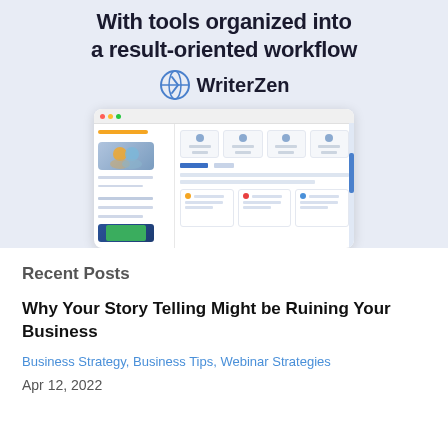[Figure (screenshot): WriterZen promotional banner with tagline 'With tools organized into a result-oriented workflow', WriterZen logo, and a screenshot of the WriterZen app interface showing dashboard with cards and content sections on a light blue background.]
Recent Posts
Why Your Story Telling Might be Ruining Your Business
Business Strategy, Business Tips, Webinar Strategies
Apr 12, 2022